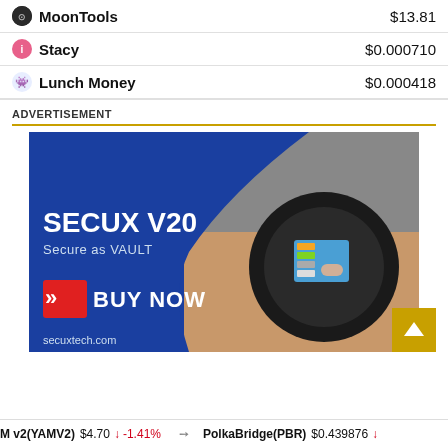| Token | Price |
| --- | --- |
| MoonTools | $13.81 |
| Stacy | $0.000710 |
| Lunch Money | $0.000418 |
ADVERTISEMENT
[Figure (photo): Advertisement for SecuX V20 hardware wallet. Blue background with a hand touching a round device. Text reads: SECUX V20, Secure as VAULT, BUY NOW, secuxtech.com]
M v2(YAMV2) $4.70 ↓ -1.41%   PolkaBridge(PBR) $0.439876 ↓